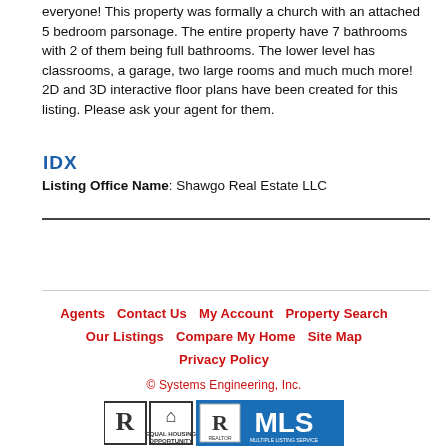everyone! This property was formally a church with an attached 5 bedroom parsonage. The entire property have 7 bathrooms with 2 of them being full bathrooms. The lower level has classrooms, a garage, two large rooms and much much more! 2D and 3D interactive floor plans have been created for this listing. Please ask your agent for them.
[Figure (logo): IDX logo in blue bold text]
Listing Office Name: Shawgo Real Estate LLC
Agents  Contact Us  My Account  Property Search  Our Listings  Compare My Home  Site Map  Privacy Policy
© Systems Engineering, Inc.
[Figure (logo): Realtor, Equal Housing Opportunity, and MLS logos]